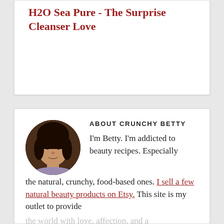H2O Sea Pure - The Surprise Cleanser Love
ABOUT CRUNCHY BETTY
I'm Betty. I'm addicted to beauty recipes. Especially the natural, crunchy, food-based ones. I sell a few natural beauty products on Etsy. This site is my outlet to provide the world with love, affection, and a gosh-darned good reason to put food